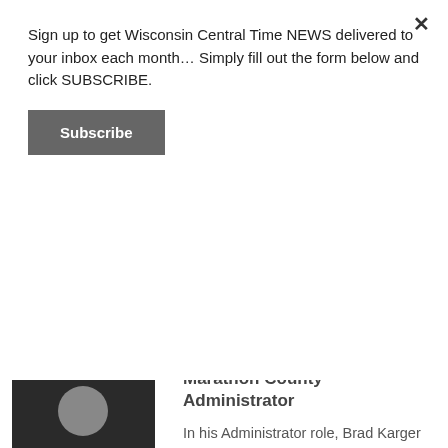Sign up to get Wisconsin Central Time NEWS delivered to your inbox each month… Simply fill out the form below and click SUBSCRIBE.
Subscribe
[Figure (photo): Portrait photo of a man in a dark suit with glasses and light purple shirt and tie, against a dark background — Brad Karger]
Marathon County Administrator
In his Administrator role, Brad Karger leads an organization with 700+ employees and an annual budget of more than $165 million. Brad has been in leadership positions with Marathon County for the past 30 years. He is known statewide for generating innovative ideas and solutions to problems, openness and